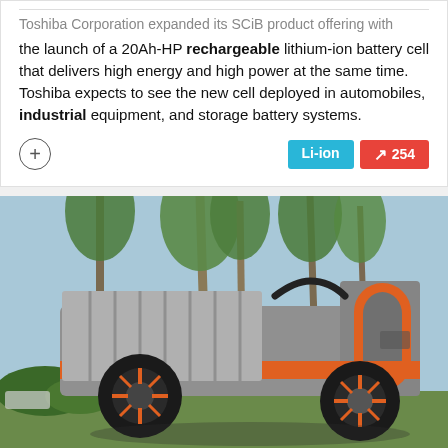Toshiba Corporation expanded its SCiB product offering with the launch of a 20Ah-HP rechargeable lithium-ion battery cell that delivers high energy and high power at the same time. Toshiba expects to see the new cell deployed in automobiles, industrial equipment, and storage battery systems.
[Figure (photo): Photo of a futuristic industrial electric vehicle/robot with grey and orange design, large wheels, set against a background of palm trees and blue sky.]